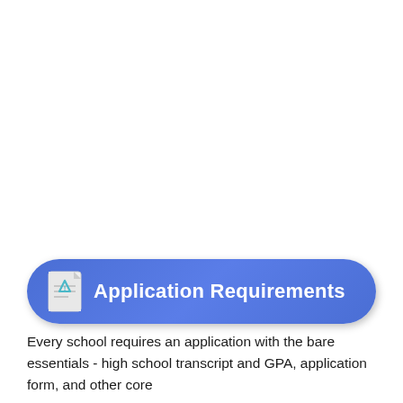Application Requirements
Every school requires an application with the bare essentials - high school transcript and GPA, application form, and other core